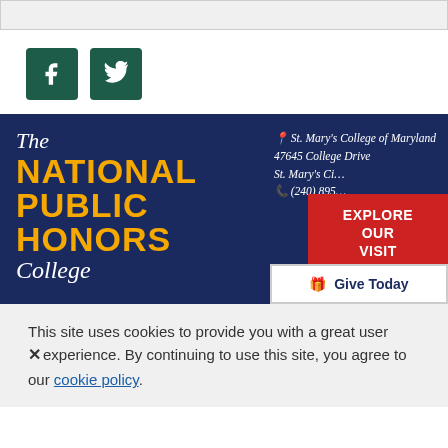[Figure (infographic): Top grey bar (partial content cut off)]
[Figure (logo): Facebook and Twitter social media icon buttons in dark teal/green]
[Figure (infographic): The National Public Honors College footer banner with logo, address (St. Mary's College of Maryland, 47645 College Drive, St. Mary's City, MD, (240) 895-...), red EXPLORE OUR VISIT OPTIONS button, and Give Today button]
This site uses cookies to provide you with a great user experience. By continuing to use this site, you agree to our cookie policy.